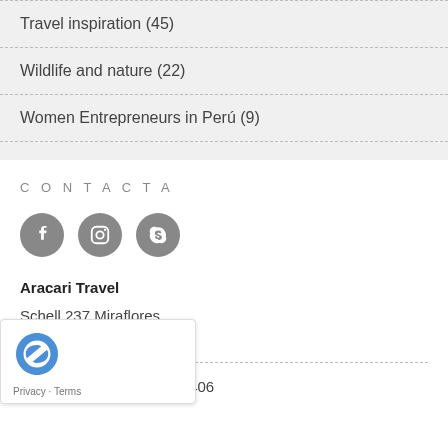Travel inspiration (45)
Wildlife and nature (22)
Women Entrepreneurs in Perú (9)
CONTACTA
[Figure (other): Three social media icons: Facebook, Instagram, Skype]
Aracari Travel
Schell 237 Miraflores
Lima, Perú
USA: +1 718 395 2406